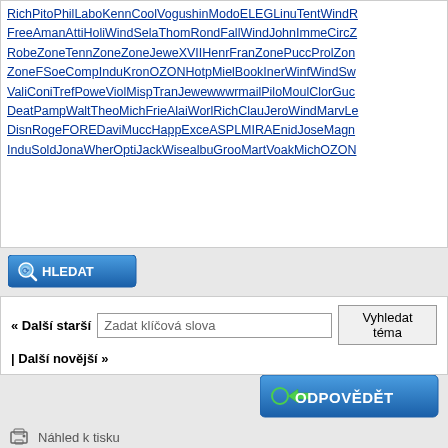RichPitoPhilLaboKennCoolVogushinModoELEGLinuTentWindR FreeAmanAttiHoliWindSelaThomRondFallWindJohnImmeCircZ RobeZoneTennZoneZoneJeweXVIIHenrFranZonePuccProlZon ZoneFSoeCompInduKronOZONHotpMielBookInerWinfWindSw ValiConiTrefPoweViolMispTranJewewwwrmailPiloMoulClorGuc DeatPampWaltTheoMichFrieAlaiWorlRichClauJeroWindMarvLe DisnRogeFOREDaviMuccHappExceASPLMIRAEnidJoseMagn InduSoldJonaWherOptiJackWisealbuGrooMartVoakMichOZON
[Figure (screenshot): HLEDAT button - blue search button with magnifying glass icon]
« Další starší | Další novější »
[Figure (screenshot): Search input field with placeholder 'Zadat klíčová slova' and 'Vyhledat téma' button]
[Figure (screenshot): ODPOVĚDĚT button - large blue reply button with arrow icon]
Náhled k tisku
Odeslat téma příteli
Odebírat téma
Skok na fórum: -- Novinky a jiná důležitá oznámení   Go
Uživatel(é) prohlížející si toto téma: 1 Host(é)